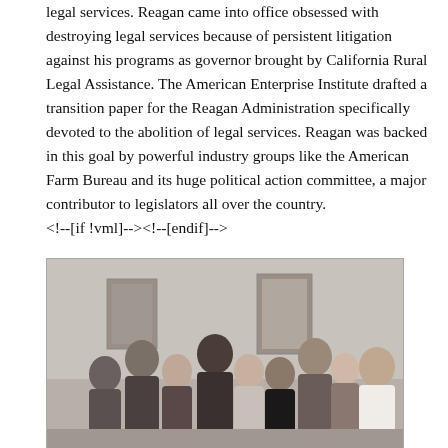legal services. Reagan came into office obsessed with destroying legal services because of persistent litigation against his programs as governor brought by California Rural Legal Assistance. The American Enterprise Institute drafted a transition paper for the Reagan Administration specifically devoted to the abolition of legal services. Reagan was backed in this goal by powerful industry groups like the American Farm Bureau and its huge political action committee, a major contributor to legislators all over the country.
<!--[if !vml]--><!--[endif]-->
[Figure (photo): Black and white group photo of approximately 10-11 people standing together indoors, appearing to be staff or colleagues.]